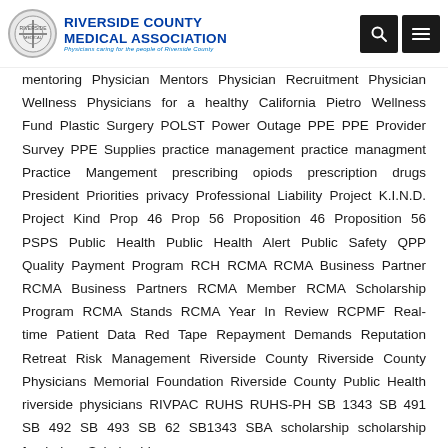[Figure (logo): Riverside County Medical Association logo with circular emblem and text]
mentoring Physician Mentors Physician Recruitment Physician Wellness Physicians for a healthy California Pietro Wellness Fund Plastic Surgery POLST Power Outage PPE PPE Provider Survey PPE Supplies practice management practice managment Practice Mangement prescribing opiods prescription drugs President Priorities privacy Professional Liability Project K.I.N.D. Project Kind Prop 46 Prop 56 Proposition 46 Proposition 56 PSPS Public Health Public Health Alert Public Safety QPP Quality Payment Program RCH RCMA RCMA Business Partner RCMA Business Partners RCMA Member RCMA Scholarship Program RCMA Stands RCMA Year In Review RCPMF Real-time Patient Data Red Tape Repayment Demands Reputation Retreat Risk Management Riverside County Riverside County Physicians Memorial Foundation Riverside County Public Health riverside physicians RIVPAC RUHS RUHS-PH SB 1343 SB 491 SB 492 SB 493 SB 62 SB1343 SBA scholarship scholarship fundraiser Scholarships